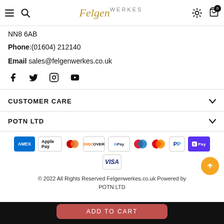Felgen WERKES — navigation bar with hamburger menu, search, logo, settings, cart (0)
NN8 6AB
Phone: (01604) 212140
Email sales@felgenwerkes.co.uk
[Figure (infographic): Social media icons: Facebook, Twitter, Instagram, YouTube]
CUSTOMER CARE
POTN LTD
[Figure (infographic): Payment method icons: Amex, Apple Pay, Diners Club, Discover, Google Pay, Maestro, Mastercard, PayPal, Shop Pay, Visa]
© 2022 All Rights Reserved Felgenwerkes.co.uk Powered by POTN LTD
ADD TO CART